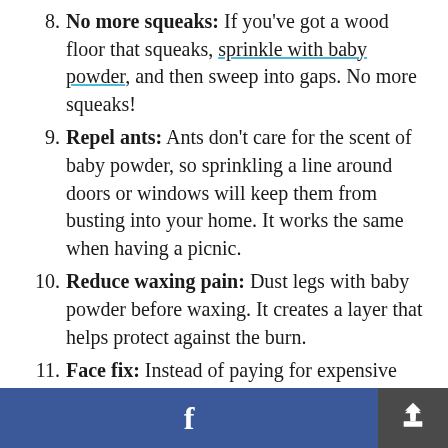8. No more squeaks: If you've got a wood floor that squeaks, sprinkle with baby powder, and then sweep into gaps. No more squeaks!
9. Repel ants: Ants don't care for the scent of baby powder, so sprinkling a line around doors or windows will keep them from busting into your home. It works the same when having a picnic.
10. Reduce waxing pain: Dust legs with baby powder before waxing. It creates a layer that helps protect against the burn.
11. Face fix: Instead of paying for expensive finishing powder, dust a touch of baby powder